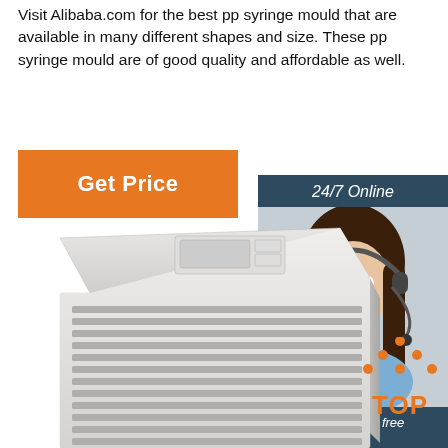Visit Alibaba.com for the best pp syringe mould that are available in many different shapes and size. These pp syringe mould are of good quality and affordable as well.
[Figure (screenshot): Orange 'Get Price' button]
[Figure (illustration): 24/7 Online chat widget with a woman wearing a headset, dark blue background, orange QUOTATION button, text: 'Click here for free chat!']
[Figure (photo): Product photo of a white rectangular mould/device with ventilation slots on the front and sides, control panel on top]
[Figure (other): TOP badge with orange dots forming a triangle above the word TOP in orange]